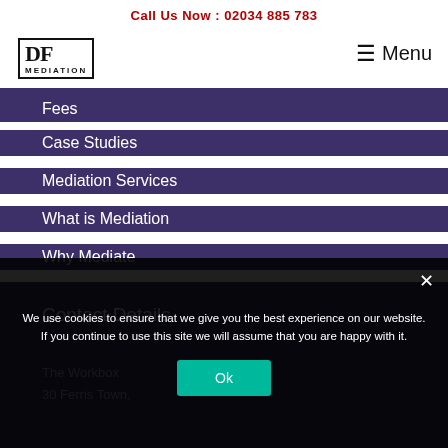Call Us Now : 02034 885 783
[Figure (logo): DF Mediation logo with stylized DF letters and MEDIATION text below]
≡ Menu
Fees
Case Studies
Mediation Services
What is Mediation
Why Mediate
Contact Details
The Workbox
30 Ferris Town,
We use cookies to ensure that we give you the best experience on our website. If you continue to use this site we will assume that you are happy with it.